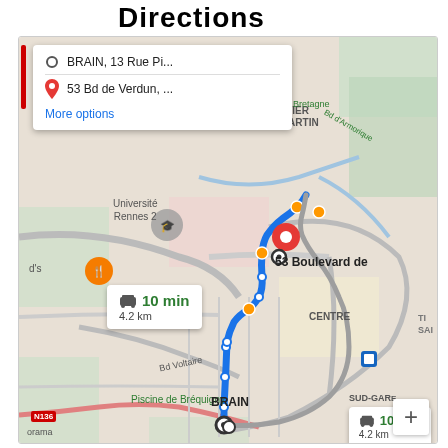Directions
[Figure (map): Google Maps screenshot showing driving directions in Rennes, France. Route from BRAIN, 13 Rue Pi... to 53 Bd de Verdun. Blue route line shown on map. Two time/distance boxes showing 10 min, 4.2 km. Labels: Université Rennes 2, QUARTIER SAINT-MARTIN, CENTRE, SUD-GARE, Bd Voltaire, Piscine de Bréquigny.]